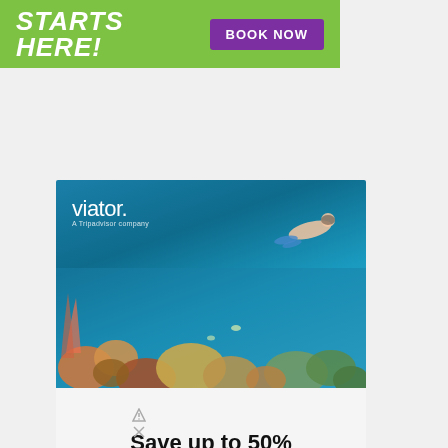[Figure (infographic): Green banner ad with bold white italic text 'STARTS HERE!' and a purple 'BOOK NOW' button]
[Figure (infographic): Viator travel ad showing underwater coral reef snorkeling photo with logo, 'Start exploring' teal button, and 'Save up to 50% on tours and activities' text]
[Figure (infographic): Walgreens ad showing logo, Ashburn location, OPEN 8AM-10PM, address 20321 Susan Leslie Dr, Ashburn, with navigation icon]